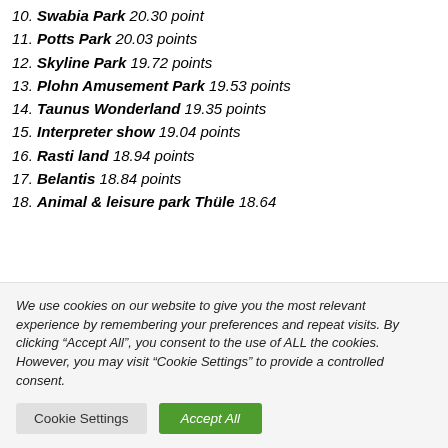10. Swabia Park 20.30 point
11. Potts Park 20.03 points
12. Skyline Park 19.72 points
13. Plohn Amusement Park 19.53 points
14. Taunus Wonderland 19.35 points
15. Interpreter show 19.04 points
16. Rasti land 18.94 points
17. Belantis 18.84 points
18. Animal & leisure park Thüle 18.64
We use cookies on our website to give you the most relevant experience by remembering your preferences and repeat visits. By clicking “Accept All”, you consent to the use of ALL the cookies. However, you may visit "Cookie Settings" to provide a controlled consent.